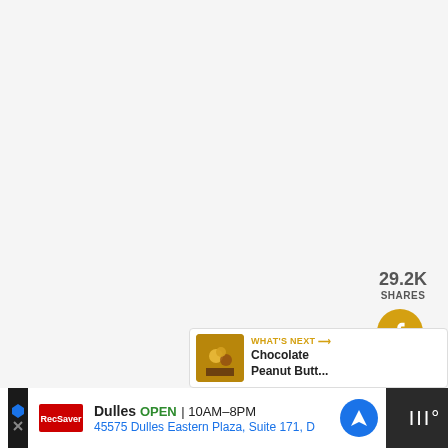29.2K
SHARES
[Figure (infographic): Social sharing sidebar with Facebook icon button (gold circle), heart/like icon button (gold circle), share button (gold circle) with 29.3K badge count, and a What's Next bar showing a chocolate peanut butter recipe thumbnail]
WHAT'S NEXT → Chocolate Peanut Butt...
[Figure (infographic): Advertisement bar at bottom: Dulles OPEN 10AM-8PM, 45575 Dulles Eastern Plaza, Suite 171, D — with navigation icon and wordmark logo on dark background]